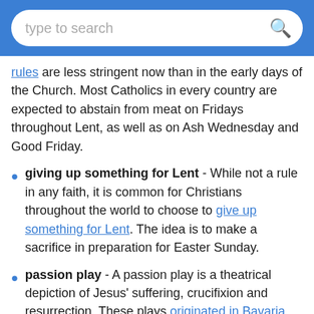type to search
rules are less stringent now than in the early days of the Church. Most Catholics in every country are expected to abstain from meat on Fridays throughout Lent, as well as on Ash Wednesday and Good Friday.
giving up something for Lent - While not a rule in any faith, it is common for Christians throughout the world to choose to give up something for Lent. The idea is to make a sacrifice in preparation for Easter Sunday.
passion play - A passion play is a theatrical depiction of Jesus' suffering, crucifixion and resurrection. These plays originated in Bavaria